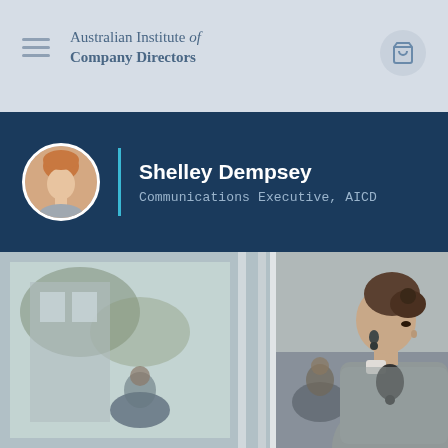Australian Institute of Company Directors
Shelley Dempsey
Communications Executive, AICD
[Figure (photo): Professional woman in grey top in an office/meeting room setting, viewed through glass panels. Other people visible in background.]